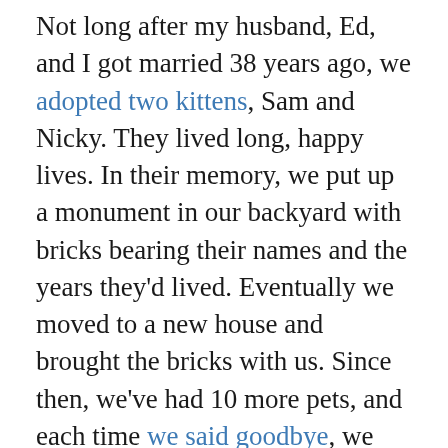Not long after my husband, Ed, and I got married 38 years ago, we adopted two kittens, Sam and Nicky. They lived long, happy lives. In their memory, we put up a monument in our backyard with bricks bearing their names and the years they'd lived. Eventually we moved to a new house and brought the bricks with us. Since then, we've had 10 more pets, and each time we said goodbye, we made a new brick. But the weather wore them down, and it became hard to see the engraved names.
A few years ago, I ordered custom photo magnets online—one for each of our beloved pets, with names and dates just like the bricks. The magnets are lightweight, so they'll be easy to take along if